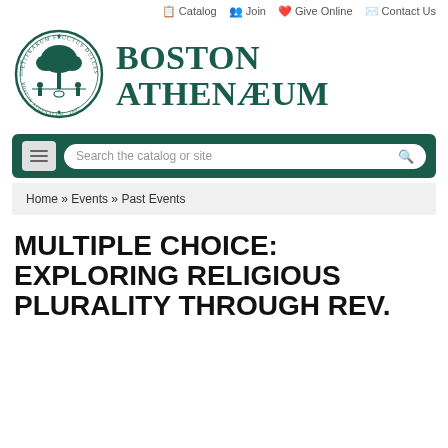Catalog  Join  Give Online  Contact Us
[Figure (logo): Boston Athenæum circular seal logo featuring a tree and figures, with Latin text 'LITERARUM FRUCTUS DULCES' and 'BOSTON ATHENÆUM 1807']
BOSTON ATHENAEUM
Search the catalog or site
Home » Events » Past Events
MULTIPLE CHOICE: EXPLORING RELIGIOUS PLURALITY THROUGH REV.